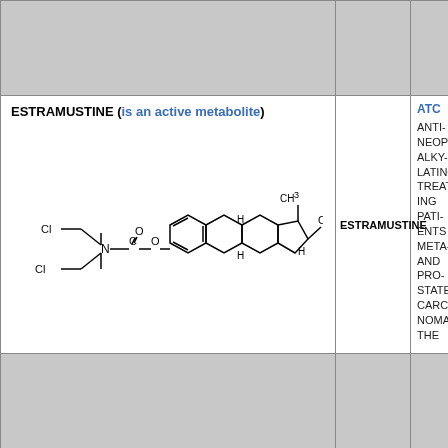ESTRAMUSTINE (is an active metabolite)
[Figure (schematic): Chemical structure of Estramustine showing steroid skeleton with nitrogen mustard carbamate ester group, with Cl-CH2-CH2 arms on nitrogen, C=O, O linkage to aromatic ring, fused ring steroid structure, CH3 and OH groups]
ESTRAMUSTINE
ATC
ANTINEOPLASTIC ALKYLATING TREATING PATIENTS META AND PROSTATE CARCINOMA THE